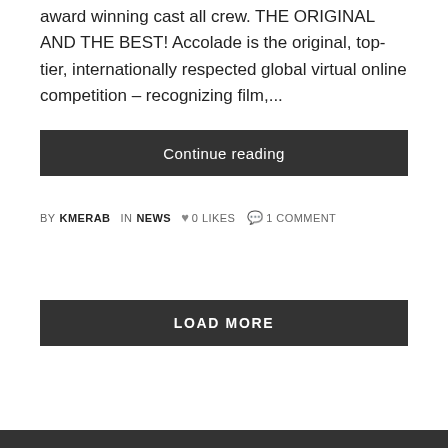award winning cast all crew. THE ORIGINAL AND THE BEST! Accolade is the original, top-tier, internationally respected global virtual online competition – recognizing film,...
Continue reading
BY KMERAB IN NEWS ♥ 0 LIKES 💬 1 COMMENT
LOAD MORE